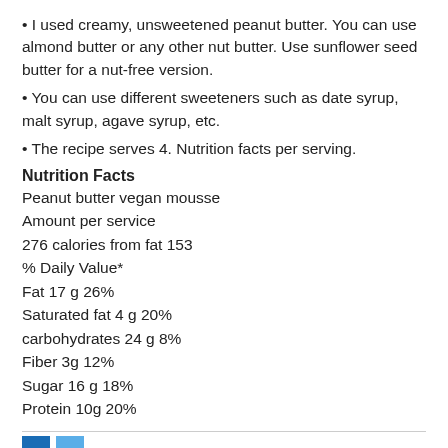I used creamy, unsweetened peanut butter. You can use almond butter or any other nut butter. Use sunflower seed butter for a nut-free version.
You can use different sweeteners such as date syrup, malt syrup, agave syrup, etc.
The recipe serves 4. Nutrition facts per serving.
Nutrition Facts
Peanut butter vegan mousse
Amount per service
276 calories from fat 153
% Daily Value*
Fat 17 g 26%
Saturated fat 4 g 20%
carbohydrates 24 g 8%
Fiber 3g 12%
Sugar 16 g 18%
Protein 10g 20%